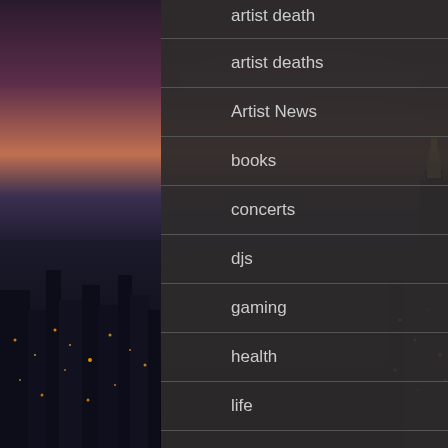[Figure (photo): Night cityscape photo showing city lights at dusk/night with a twilight sky, serving as background for a navigation menu overlay]
artist death
artist deaths
Artist News
books
concerts
djs
gaming
health
life
lifestyle
movies
music
news
playlist
Popular Posts